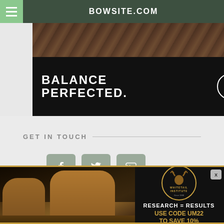BOWSITE.COM
[Figure (photo): Partial deer photo at top behind header]
[Figure (illustration): Mathews archery advertisement: black background, white text 'BALANCE PERFECTED.' with Mathews logo oval]
GET IN TOUCH
[Figure (infographic): Social media icons: Facebook, Twitter, YouTube buttons in gray rounded squares]
[Figure (photo): Whitetail Institute advertisement: two whitetail deer bucks standing in field, with text 'RESEARCH = RESULTS USE CODE UM22 TO SAVE 10%' and Whitetail Institute logo]